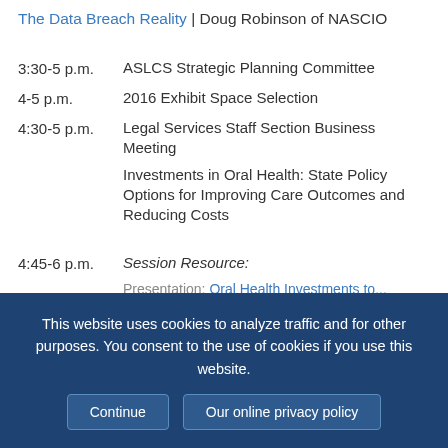The Data Breach Reality | Doug Robinson of NASCIO
3:30-5 p.m. — ASLCS Strategic Planning Committee
4-5 p.m. — 2016 Exhibit Space Selection
4:30-5 p.m. — Legal Services Staff Section Business Meeting; Investments in Oral Health: State Policy Options for Improving Care Outcomes and Reducing Costs
4:45-6 p.m. — Session Resource:
Presentation: Oral Health Investments to...
This website uses cookies to analyze traffic and for other purposes. You consent to the use of cookies if you use this website.